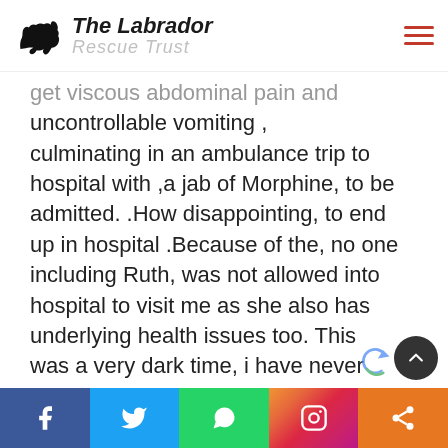The Labrador Rescue Trust
get viscous abdominal pain and uncontrollable vomiting , culminating in an ambulance trip to hospital with ,a jab of Morphine, to be admitted. .How disappointing, to end up in hospital .Because of the, no one including Ruth,  was not allowed into hospital to visit me as she also has underlying health issues too. This was a very dark time, i have never been so ill, but i must admit, Sally sending me a daily blog of Duke, photos, videos and commentary of how he was doing, kept me going, It
Facebook Twitter WhatsApp Instagram Share